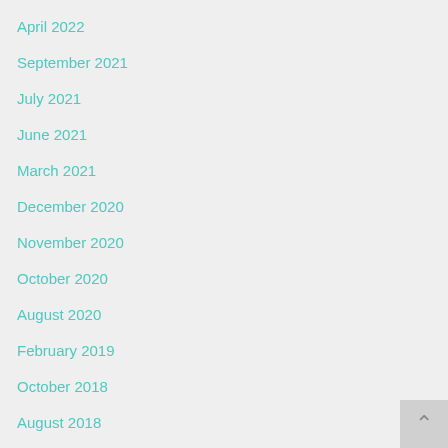April 2022
September 2021
July 2021
June 2021
March 2021
December 2020
November 2020
October 2020
August 2020
February 2019
October 2018
August 2018
June 2018
May 2018